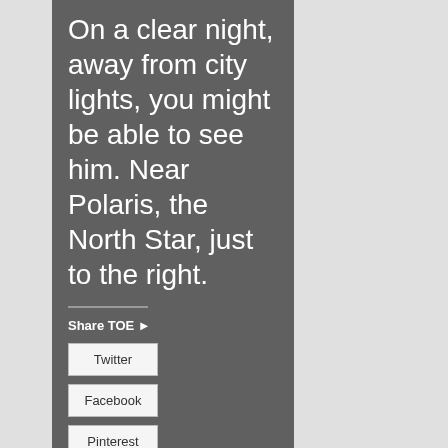On a clear night, away from city lights, you might be able to see him. Near Polaris, the North Star, just to the right.
Share TOE ▶
Twitter
Facebook
Pinterest